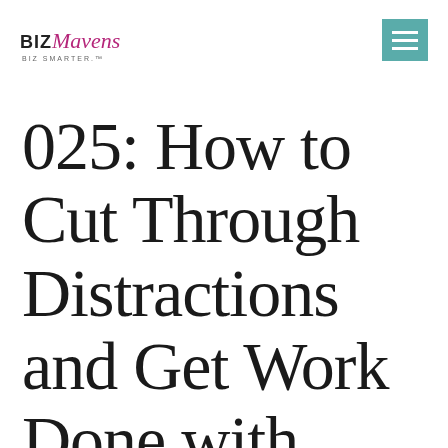BIZ Mavens BIZ SMARTER.
025: How to Cut Through Distractions and Get Work Done with Tricia Goyer